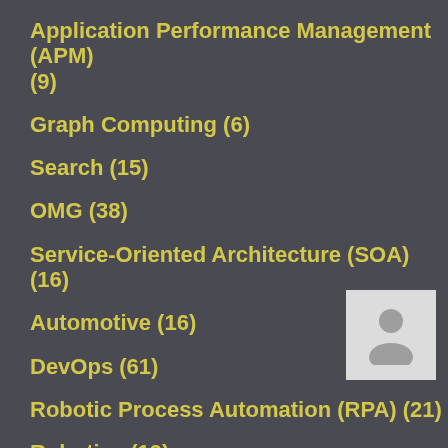Application Performance Management (APM) (9)
Graph Computing (6)
Search (15)
OMG (38)
Service-Oriented Architecture (SOA) (16)
Automotive (16)
DevOps (61)
Robotic Process Automation (RPA) (21)
Robotics (19)
Version Control Systems (14)
Microservices (52)
[Figure (illustration): User avatar placeholder icon showing a silhouette of a person on a light gray background]